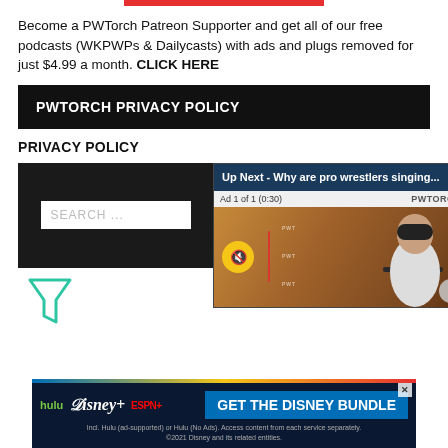Become a PWTorch Patreon Supporter and get all of our free podcasts (WKPWPs & Dailycasts) with ads and plugs removed for just $4.99 a month. CLICK HERE
PWTORCH PRIVACY POLICY
PRIVACY POLICY
[Figure (screenshot): Search panel with dark background and a search input box showing SEARCH ... placeholder text]
[Figure (screenshot): Video overlay popup showing 'Up Next - Why are pro wrestlers singing...' with ad countdown '1 of 1 (0:30)', PWTORCH branding, a muted video thumbnail of a man in a wrestling ring setting, and a close button]
[Figure (other): Filter/funnel icon in teal/green color]
[Figure (screenshot): Disney Bundle advertisement showing hulu, Disney+, and ESPN+ logos with 'GET THE DISNEY BUNDLE' call-to-action button. Fine print: Incl. Hulu (ad-supported) or Hulu (No Ads). Access content from each service separately. ©2021 Disney and its related entities.]